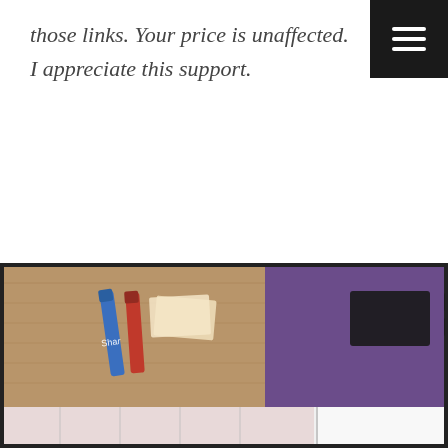those links. Your price is unaffected. I appreciate this support.
[Figure (photo): Partial screenshot of a website showing a corkboard with items including what appears to Sharpies/markers and other stationery items pinned to it, alongside a purple background section with blurred/redacted text. Below is a partially visible white card/section with faint text reading 'ons'.]